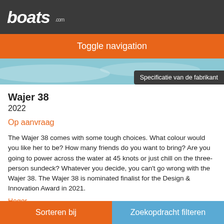boats .com
Toggle navigation
[Figure (photo): Hero image of a boat on water with waves, blue-green tones]
Specificatie van de fabrikant
Wajer 38
2022
Op aanvraag
The Wajer 38 comes with some tough choices. What colour would you like her to be? How many friends do you want to bring? Are you going to power across the water at 45 knots or just chill on the three-person sundeck? Whatever you decide, you can't go wrong with the Wajer 38. The Wajer 38 is nominated finalist for the Design & Innovation Award in 2021.
Hoger
Sorteren bij | Zoekopdracht filteren